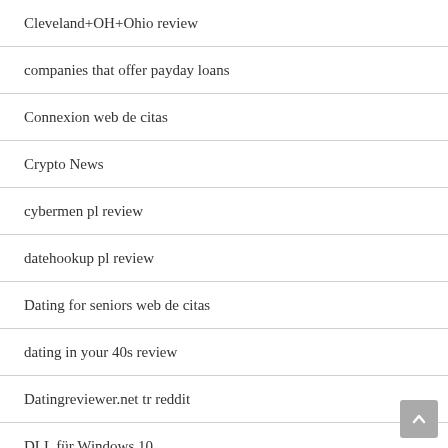Cleveland+OH+Ohio review
companies that offer payday loans
Connexion web de citas
Crypto News
cybermen pl review
datehookup pl review
Dating for seniors web de citas
dating in your 40s review
Datingreviewer.net tr reddit
DLL für Windows 10
easysex review
Errors Checking